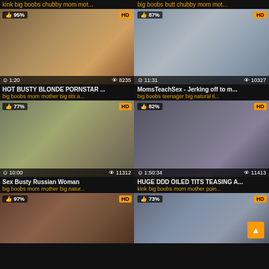kink big boobs chubby mom mot... | big boobs butt chubby mom mot...
[Figure (screenshot): Video thumbnail grid showing adult video website content with 6 video cards in 2-column layout]
HOT BUSTY BLONDE PORNSTAR ... | MomsTeachSex - Jerking off to m...
Sex Busty Russian Woman | HUGE DDD OILED TITS TEASING A...
[Figure (screenshot): Bottom row partial video thumbnails]